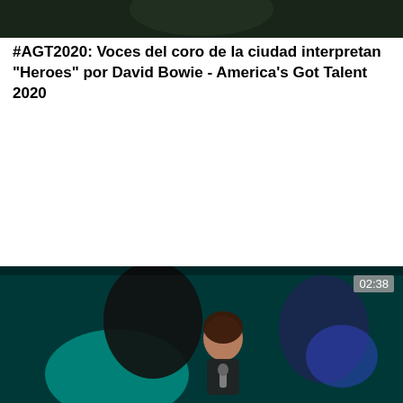[Figure (screenshot): Dark video thumbnail strip at top of page, showing a dark background scene]
#AGT2020: Voces del coro de la ciudad interpretan "Heroes" por David Bowie - America's Got Talent 2020
[Figure (screenshot): Video thumbnail showing a young woman singing on stage with a microphone, teal/dark background, with a 02:38 duration badge in the top right corner]